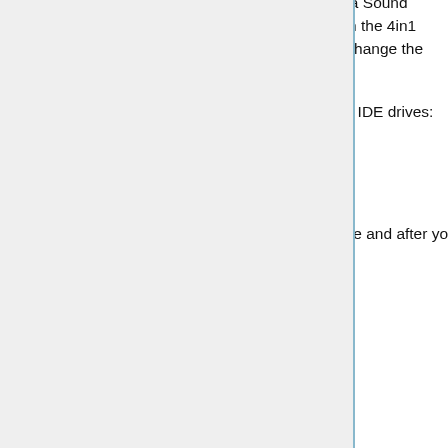these modifications to the BIOS caused a data corruption error even when not using a Sound Blaster Live. VIA released a patch which resolves this issue, which is incoroporated in the 4in1 drivers from the 4.31 version onwards. Motherboard manufacturers were advised to change the modifications made to thier BIOS to elimate the data corruption issue.
If you are experiencing data corruption or lock up when transferring files between two IDE drives:
1) Make sure you have the latest BIOS from your motherboard manufacturer.
2) Make sure you have the latest 4in1 drivers
3) Make sure when you set up your system that you install the 4in1 drivers both before and after you install the SBL